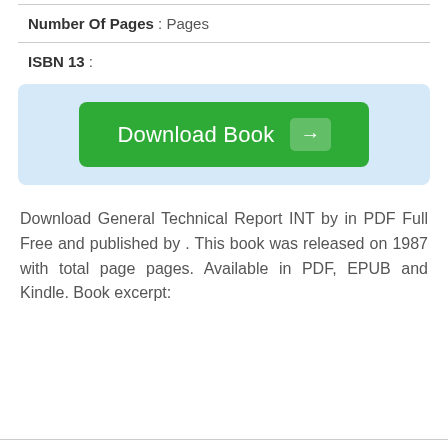Number Of Pages : Pages
ISBN 13 :
[Figure (other): Download Book button with green background and arrow icon inside a light blue box]
Download General Technical Report INT by in PDF Full Free and published by . This book was released on 1987 with total page pages. Available in PDF, EPUB and Kindle. Book excerpt: